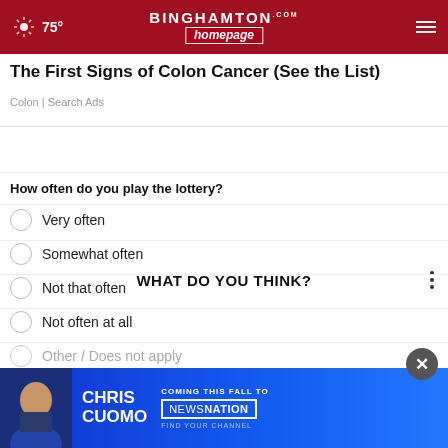75° BINGHAMTON homepage.com
The First Signs of Colon Cancer (See the List)
Colon | Search Ads
WHAT DO YOU THINK?
How often do you play the lottery?
Very often
Somewhat often
Not that often
Not often at all
Other / Does not apply
[Figure (screenshot): CHRIS CUOMO — COMING THIS FALL TO NEWSNATION advertisement banner]